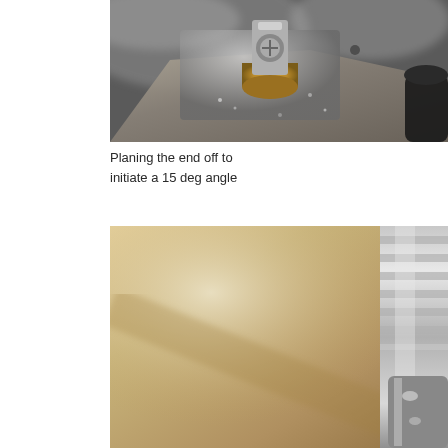[Figure (photo): Close-up macro photograph of metal machining/planing operation showing metallic components with a brass/gold colored ring, grey metal parts, water droplets or metal chips, dark background]
Planing the end off to initiate a 15 deg angle
[Figure (photo): Close-up macro photograph of a planing/milling operation showing a tan/golden colored flat surface being worked by a metallic cylindrical cutting tool on the right side]